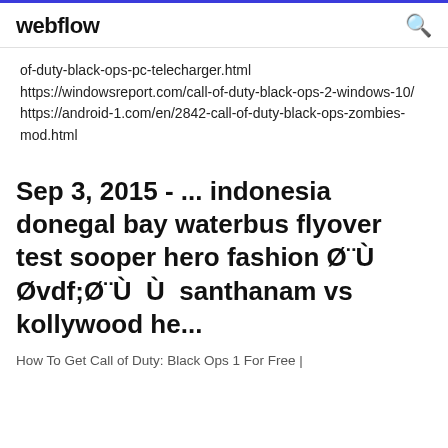webflow
of-duty-black-ops-pc-telecharger.html https://windowsreport.com/call-of-duty-black-ops-2-windows-10/ https://android-1.com/en/2842-call-of-duty-black-ops-zombies-mod.html
Sep 3, 2015 - ... indonesia donegal bay waterbus flyover test sooper hero fashion Ø¨Ù Øvdf;Ø¨Ù Ù santhanam vs kollywood he...
How To Get Call of Duty: Black Ops 1 For Free |